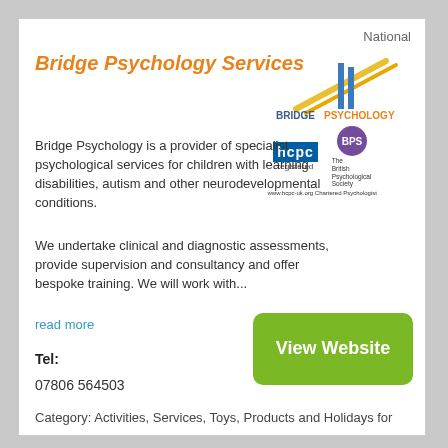National
Bridge Psychology Services
[Figure (logo): Bridge Psychology logo with diagonal lines and text 'BRIDGE PSYCHOLOGY']
[Figure (logo): HCPC registered badge and The British Psychological Society Chartered Psychologist logo with URL www.hcpc-uk.org/Chartered Psychologist]
Bridge Psychology is a provider of specialist psychological services for children with learning disabilities, autism and other neurodevelopmental conditions.
We undertake clinical and diagnostic assessments, provide supervision and consultancy and offer bespoke training. We will work with...
read more
Tel:
07806 564503
View Website
Category: Activities, Services, Toys, Products and Holidays for